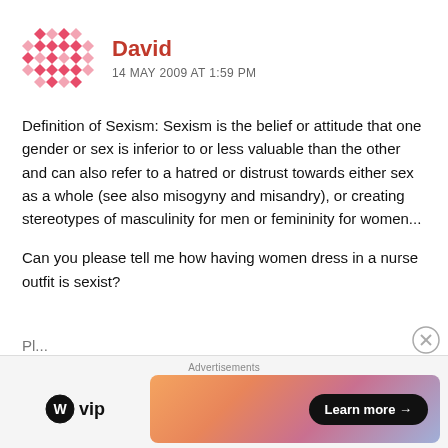[Figure (illustration): Pink/red geometric diamond pattern avatar icon for user David]
David
14 MAY 2009 AT 1:59 PM
Definition of Sexism: Sexism is the belief or attitude that one gender or sex is inferior to or less valuable than the other and can also refer to a hatred or distrust towards either sex as a whole (see also misogyny and misandry), or creating stereotypes of masculinity for men or femininity for women...
Can you please tell me how having women dress in a nurse outfit is sexist?
Pl...
Advertisements
[Figure (logo): WordPress VIP logo (WordPress circle icon + vip text)]
[Figure (illustration): Advertisement banner with gradient background and Learn more button]